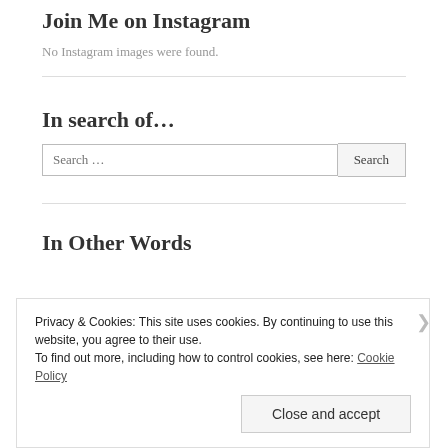Join Me on Instagram
No Instagram images were found.
In search of…
Search …  [Search button]
In Other Words
Privacy & Cookies: This site uses cookies. By continuing to use this website, you agree to their use.
To find out more, including how to control cookies, see here: Cookie Policy
Close and accept